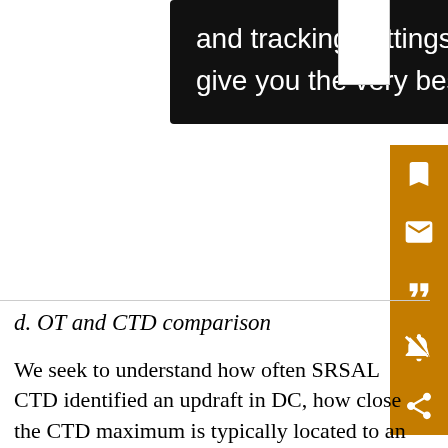and tracking settings to store information that help give you the very best browsing experience.
d. OT and CTD comparison
We seek to understand how often SRSAL CTD identified an updraft in DC, how close the CTD maximum is typically located to an updraft detected using the BK16 OT detection methods, and how the characteristics of the OTs found near CTD maxima compared to OTs outside notable CTD regions. If CTD is physically meaningful, it